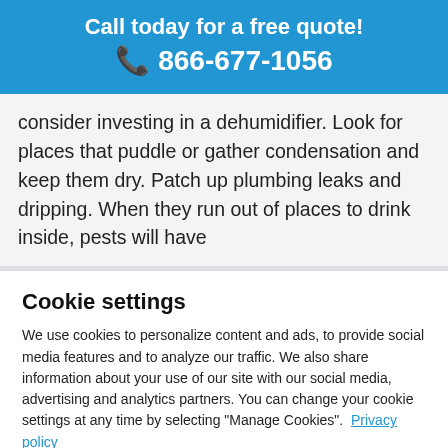Call today for a free quote! 📞 866-677-1056
consider investing in a dehumidifier. Look for places that puddle or gather condensation and keep them dry. Patch up plumbing leaks and dripping. When they run out of places to drink inside, pests will have
Cookie settings
We use cookies to personalize content and ads, to provide social media features and to analyze our traffic. We also share information about your use of our site with our social media, advertising and analytics partners. You can change your cookie settings at any time by selecting "Manage Cookies". Privacy policy
Cookies Settings   Accept All Cookies